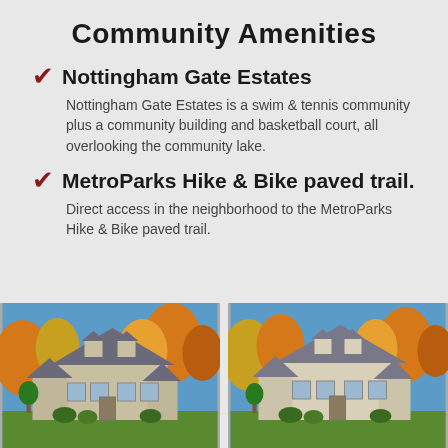Community Amenities
Nottingham Gate Estates — Nottingham Gate Estates is a swim & tennis community plus a community building and basketball court, all overlooking the community lake.
MetroParks Hike & Bike paved trail. — Direct access in the neighborhood to the MetroParks Hike & Bike paved trail.
[Figure (photo): Exterior photo of a large two-story colonial-style house with autumn trees in the background and green lawn in the foreground]
[Figure (photo): Exterior photo of a large two-story colonial-style house with autumn trees in the background, similar to the first photo]